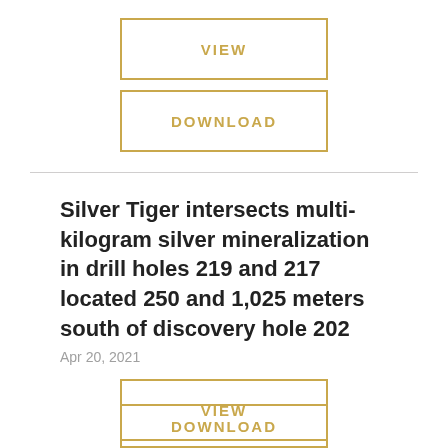VIEW
DOWNLOAD
Silver Tiger intersects multi-kilogram silver mineralization in drill holes 219 and 217 located 250 and 1,025 meters south of discovery hole 202
Apr 20, 2021
VIEW
DOWNLOAD